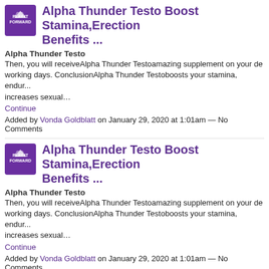[Figure (logo): Play It Forward logo - purple eagle with text]
Alpha Thunder Testo Boost Stamina,Erection Benefits ...
Alpha Thunder Testo
Then, you will receiveAlpha Thunder Testoamazing supplement on your d... working days. ConclusionAlpha Thunder Testoboosts your stamina, endur... increases sexual…
Continue
Added by Vonda Goldblatt on January 29, 2020 at 1:01am — No Comments
[Figure (logo): Play It Forward logo - purple eagle with text]
Alpha Thunder Testo Boost Stamina,Erection Benefits ...
Alpha Thunder Testo
Then, you will receiveAlpha Thunder Testoamazing supplement on your d... working days. ConclusionAlpha Thunder Testoboosts your stamina, endur... increases sexual…
Continue
Added by Vonda Goldblatt on January 29, 2020 at 1:01am — No Comments
[Figure (logo): Play It Forward logo - purple eagle with text]
Improve Your male Performance Level with A... Testo
It's picture perfect. I believe that clarified it with a plenty of gurus. The resou... certainly do like Bed Boosters. I was alarmed at the exceptional quality. I su... appreciate my generous offer. Therefore,Alpha Titan Testo like my co-worke...